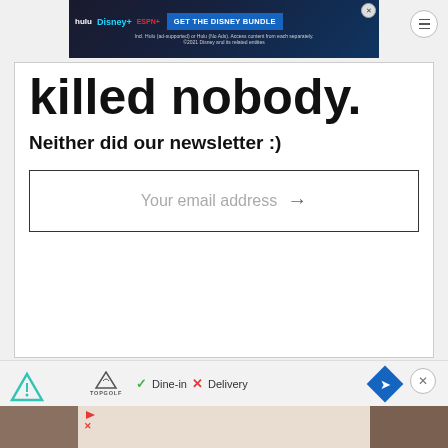[Figure (screenshot): Hulu Disney+ ESPN+ advertisement banner: GET THE DISNEY BUNDLE. Incl. Hulu (ad-supported) or Hulu (No Ads). Access content from each separately. ©2021 Disney and its related entities.]
killed nobody.
Neither did our newsletter :)
Your email address →
[Figure (screenshot): Topgolf advertisement strip showing: TOPGOLF logo, check Dine-in, X Delivery, blue navigation diamond with arrow icon. Below is a partial photo of a person. Freemium/triangle icon top left, close X button top right.]